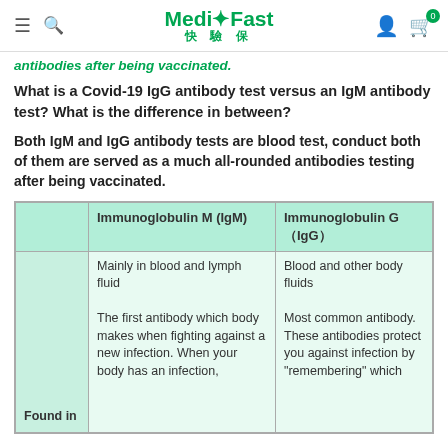MediFast 快 驗 保
antibodies after being vaccinated.
What is a Covid-19 IgG antibody test versus an IgM antibody test? What is the difference in between?
Both IgM and IgG antibody tests are blood test, conduct both of them are served as a much all-rounded antibodies testing after being vaccinated.
|  | Immunoglobulin M (IgM) | Immunoglobulin G（IgG） |
| --- | --- | --- |
| Found in | Mainly in blood and lymph fluid

The first antibody which body makes when fighting against a new infection. When your body has an infection, | Blood and other body fluids

Most common antibody. These antibodies protect you against infection by "remembering" which |